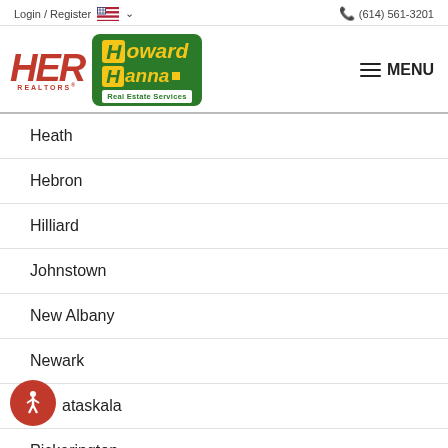Login / Register   (614) 561-3201
[Figure (logo): HER Realtors and Howard Hanna Real Estate Services logos with menu button]
Heath
Hebron
Hilliard
Johnstown
New Albany
Newark
ataskala
Pickerington